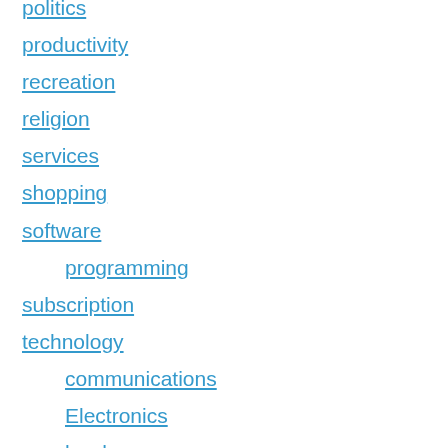politics
productivity
recreation
religion
services
shopping
software
programming
subscription
technology
communications
Electronics
hardware
storage
Uncategorized